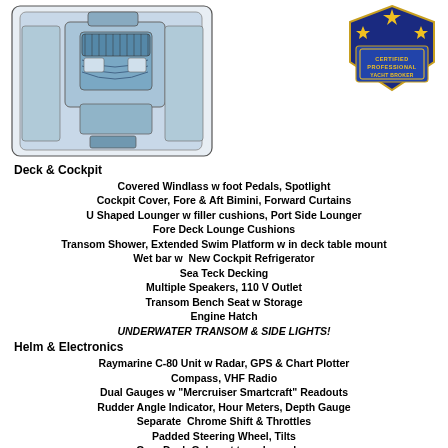[Figure (illustration): Top-down boat deck layout diagram showing cockpit, helm, and interior compartments in blue/teal tones]
[Figure (logo): Certified Professional Yacht Broker badge/emblem — blue and gold shield with stars and banner]
Deck & Cockpit
Covered Windlass w foot Pedals, Spotlight
Cockpit Cover, Fore & Aft Bimini, Forward Curtains
U Shaped Lounger w filler cushions, Port Side Lounger
Fore Deck Lounge Cushions
Transom Shower, Extended Swim Platform w in deck table mount
Wet bar w  New Cockpit Refrigerator
Sea Teck Decking
Multiple Speakers, 110 V Outlet
Transom Bench Seat w Storage
Engine Hatch
UNDERWATER TRANSOM & SIDE LIGHTS!
Helm & Electronics
Raymarine C-80 Unit w Radar, GPS & Chart Plotter
Compass, VHF Radio
Dual Gauges w "Mercruiser Smartcraft" Readouts
Rudder Angle Indicator, Hour Meters, Depth Gauge
Separate  Chrome Shift & Throttles
Padded Steering Wheel, Tilts
Gray Dash Gel-coat to reduce glare
Steps to Fore deck w Safety Railing
Accommodations